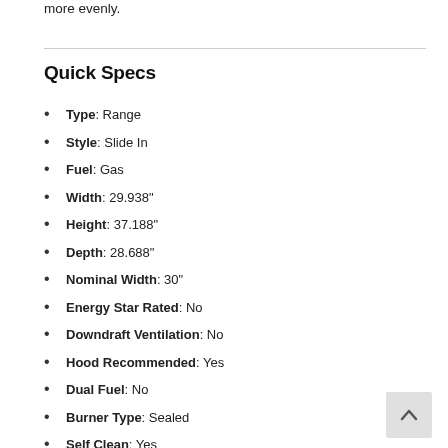more evenly.
Quick Specs
Type: Range
Style: Slide In
Fuel: Gas
Width: 29.938"
Height: 37.188"
Depth: 28.688"
Nominal Width: 30"
Energy Star Rated: No
Downdraft Ventilation: No
Hood Recommended: Yes
Dual Fuel: No
Burner Type: Sealed
Self Clean: Yes
Convection: Yes
Drawer: Storage
First Oven: 5.8 cu. ft.
Hidden Bake Element: No
Continuous Grate: Yes
Sabbath Mode: Yes
WiFi Connected: Yes